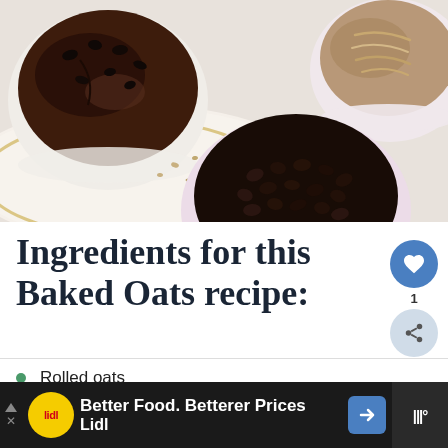[Figure (photo): Top-down photo of baking ingredients: a white ramekin with chocolate baked oats and chocolate chips on top, a pink bowl with rolled oats, and a small pink bowl filled with chocolate chips, arranged on a white surface with scattered oat crumbs.]
Ingredients for this Baked Oats recipe:
Rolled oats
Cocoa powder
WHAT'S NEXT → Oatmeal Pumpkin...
Better Food. Betterer Prices Lidl